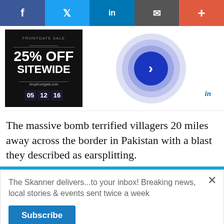[Figure (screenshot): Social media sharing bar with Facebook (dark blue), Twitter (light blue), LinkedIn (dark blue), Email (grey), and Plus (red-orange) buttons]
[Figure (screenshot): Advertisement showing '25% OFF SITEWIDE' with countdown timer on dark background, next to concentric purple circles with a blue play/arrow button, and LinkedIn badge]
The massive bomb terrified villagers 20 miles away across the border in Pakistan with a blast they described as earsplitting.
[Figure (screenshot): Newsletter signup popup: 'The Skanner delivers...to your inbox! Breaking news, local stories & events sent twice a week' with Subscribe button and infolinks badge]
[Figure (screenshot): Frontgate advertisement: 'Frontgate: Outdoor Furniture | Bedding — 25% off site wide sale going on now at Frontgate.com — frontgate.com' with product image and circular arrow button]
[Figure (screenshot): Constant Staffing job ad in Spanish: 'ESTAMOS CONTRATANDO BILINGUES' with job categories (Trabajadores de Bodega, Empacadores, Personal Administrativo) and phone 713-714-8909]